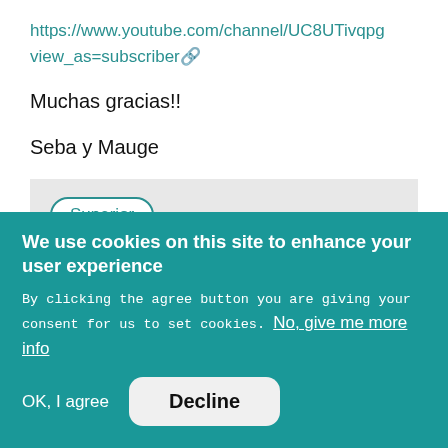https://www.youtube.com/channel/UC8UTivqpg view_as=subscriber
Muchas gracias!!
Seba y Mauge
Superior
Jue. 2020-09-24 10:35   ENLACE PERMANENTE
We use cookies on this site to enhance your user experience
By clicking the agree button you are giving your consent for us to set cookies. No, give me more info
OK, I agree
Decline